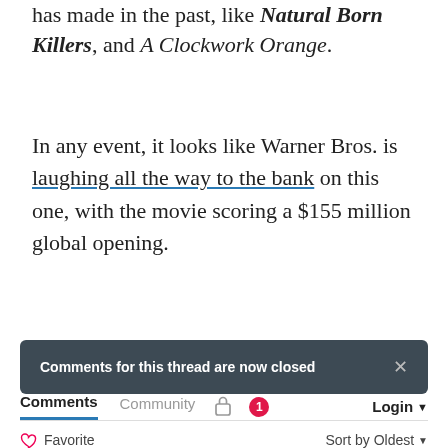has made in the past, like Natural Born Killers, and A Clockwork Orange.
In any event, it looks like Warner Bros. is laughing all the way to the bank on this one, with the movie scoring a $155 million global opening.
Comments for this thread are now closed
Comments  Community  Login
Favorite  Sort by Oldest
This comment was deleted.